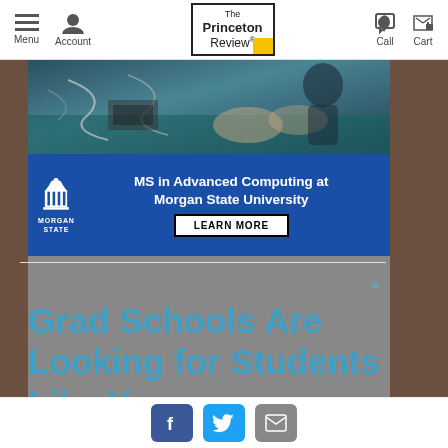The Princeton Review — Menu, Account, Call, Cart navigation
[Figure (screenshot): Photo of students working at computers with cables and electronics, partially visible]
[Figure (infographic): Morgan State University advertisement banner: MS in Advanced Computing at Morgan State University, with Learn More button]
Grad Schools Are Looking for Students Like You
Social share buttons: Facebook, Twitter, Email